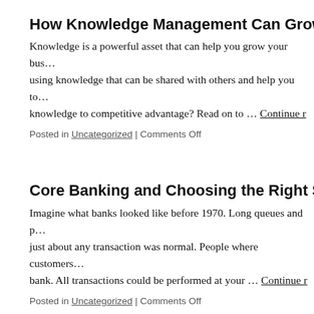How Knowledge Management Can Grow Y
Knowledge is a powerful asset that can help you grow your bus... using knowledge that can be shared with others and help you to... knowledge to competitive advantage? Read on to … Continue r
Posted in Uncategorized | Comments Off
Core Banking and Choosing the Right Sc
Imagine what banks looked like before 1970. Long queues and p... just about any transaction was normal. People where customers... bank. All transactions could be performed at your … Continue r
Posted in Uncategorized | Comments Off
Characteristics Of A Successful Selling M